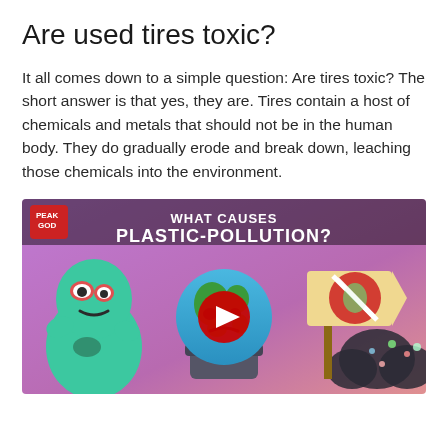Are used tires toxic?
It all comes down to a simple question: Are tires toxic? The short answer is that yes, they are. Tires contain a host of chemicals and metals that should not be in the human body. They do gradually erode and break down, leaching those chemicals into the environment.
[Figure (screenshot): YouTube video thumbnail from Peakgod channel titled 'WHAT CAUSES PLASTIC-POLLUTION?' showing a cartoon sad Earth surrounded by pollution, a crying green character on the left, and a no-plastic sign on the right, with a red YouTube play button in the center.]